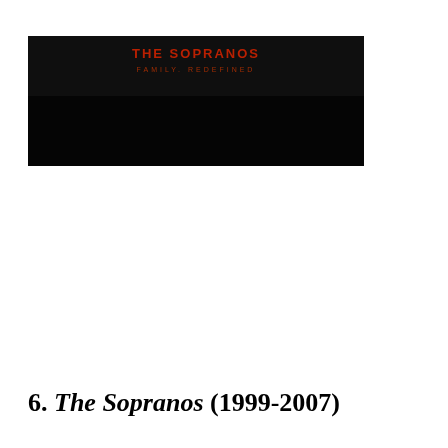[Figure (photo): A dark, nearly black horizontal banner image with faint red/orange text visible at the top center reading 'FAMILY. REDEFINED' — appears to be a promotional image or title card for The Sopranos TV show.]
6. The Sopranos (1999-2007)